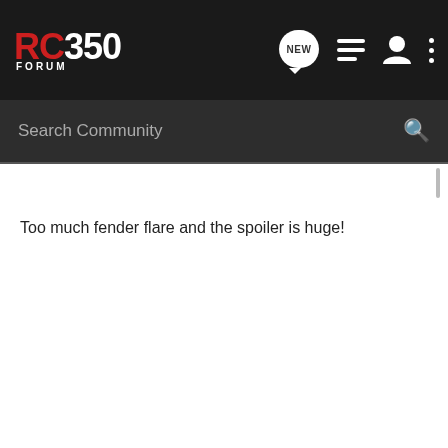RC350 FORUM
Search Community
Too much fender flare and the spoiler is huge!
Lex Luther · Registered
Joined Nov 5, 2013 · 1,016 Posts
Discussion Starter · #3 · Nov 5, 2015
Spoiler is ridiculous, but I kinda like the body kit. If the car were